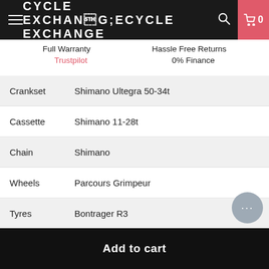CYCLE EXCHANGE
Full Warranty   Hassle Free Returns
Trustpilot   0% Finance
| Attribute | Value |
| --- | --- |
| Crankset | Shimano Ultegra 50-34t |
| Cassette | Shimano 11-28t |
| Chain | Shimano |
| Wheels | Parcours Grimpeur |
| Tyres | Bontrager R3 |
| Handlebars | Specialized  Alloy |
| Stem | Specialized Alloy |
| Seatpost | S-Works Fact Carbon |
| Saddle | WTB |
| Category | Used |
| Barcode |  |
Add to cart